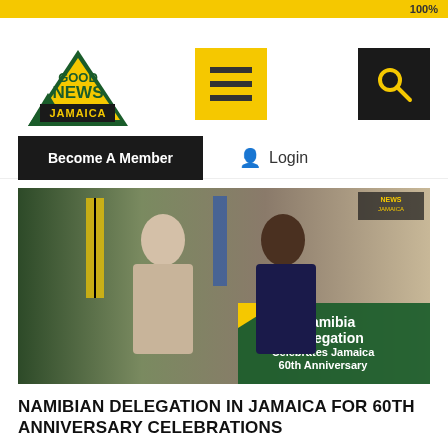100%
[Figure (logo): Good News Jamaica logo — yellow/green triangle with text GOOD NEWS JAMAICA]
[Figure (infographic): Yellow square button with three horizontal black bars (hamburger menu icon)]
[Figure (infographic): Black square button with yellow magnifying glass (search icon)]
Become A Member
Login
[Figure (photo): Two women standing together smiling, each holding a ceremonial folder/document. A Jamaican flag and a blue flag are visible in the background. An overlay text reads: Namibia Delegation Celebrates Jamaica 60th Anniversary. Good News Jamaica watermark visible in top right corner.]
NAMIBIAN DELEGATION IN JAMAICA FOR 60TH ANNIVERSARY CELEBRATIONS